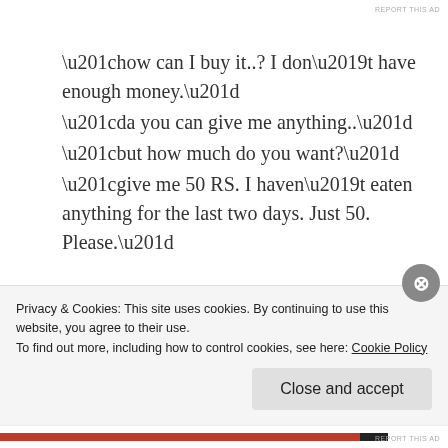REPORT THIS AD
“how can I buy it..? I don’t have enough money.”
“da you can give me anything..”
“but how much do you want?”
“give me 50 RS. I haven’t eaten anything for the last two days. Just 50. Please.”
My father knew well how it feels.. being homeless and famished. For Anil, his camera was his whole life.. and he was now selling it so that he could extinguish his hunger with a dosa of 25 paise then.
Privacy & Cookies: This site uses cookies. By continuing to use this website, you agree to their use.
To find out more, including how to control cookies, see here: Cookie Policy
Close and accept
REPORT THIS AD